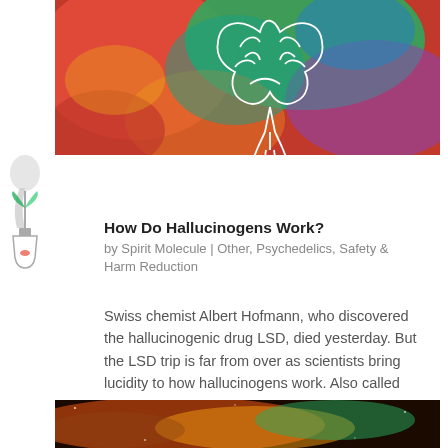[Figure (illustration): Colorful psychedelic image of a brain with white outline on a vivid multi-colored background (reds, greens, blues, purples)]
[Figure (illustration): Small decorative icon on the left side showing a chemistry flask/beaker with colorful elements]
How Do Hallucinogens Work?
by Spirit Molecule | Other, Psychedelics, Safety & Harm Reduction
Swiss chemist Albert Hofmann, who discovered the hallucinogenic drug LSD, died yesterday. But the LSD trip is far from over as scientists bring lucidity to how hallucinogens work. Also called psychedelics, hallucinogens alter a person's perception, mood and a...
[Figure (photo): Colorful cosmic or nebula-style image with orange, green, and red tones at the bottom of the page]